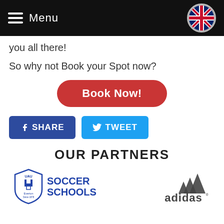Menu
you all there!
So why not Book your Spot now?
[Figure (other): Red rounded 'Book Now!' button]
[Figure (other): Facebook Share button (dark blue) and Twitter Tweet button (light blue)]
OUR PARTNERS
[Figure (logo): Everton Soccer Schools logo on left and Adidas logo on right]